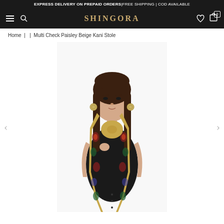EXPRESS DELIVERY ON PREPAID ORDERS | FREE SHIPPING | COD AVAILABLE
SHINGORA
Home | | Multi Check Paisley Beige Kani Stole
[Figure (photo): A woman wearing a black outfit and a Multi Check Paisley Beige Kani Stole with colorful paisley patterns draped around her neck, with long dark hair, circular earrings. The photo is a product model shot on a white background.]